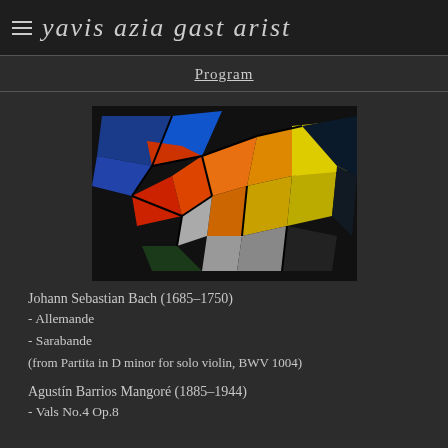yavis azia gast arist
Program
[Figure (photo): Stained glass window with colorful geometric shapes including blue, red, orange, yellow, white, and gold pieces arranged in an abstract pattern on a dark background.]
Johann Sebastian Bach (1685–1750)
- Allemande
- Sarabande
(from Partita in D minor for solo violin, BWV 1004)
Agustín Barrios Mangoré (1885–1944)
- Vals No.4 Op.8